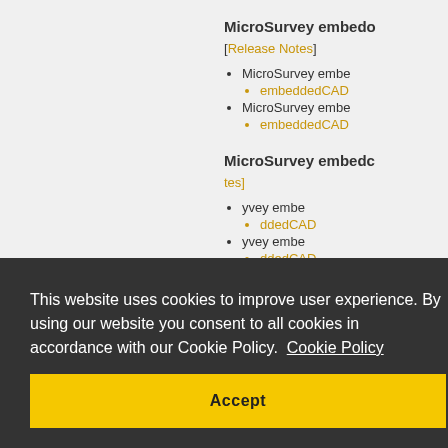MicroSurvey embedd...
[Release Notes]
MicroSurvey embe...
embeddedCAD...
MicroSurvey embe...
embeddedCAD...
MicroSurvey embedc...
...tes]
...yvey embe...
...ddedCAD...
...yvey embe...
...ddedCAD...
...y embedo...
...tes]
MicroSurvey embe...
This website uses cookies to improve user experience. By using our website you consent to all cookies in accordance with our Cookie Policy. Cookie Policy
Accept